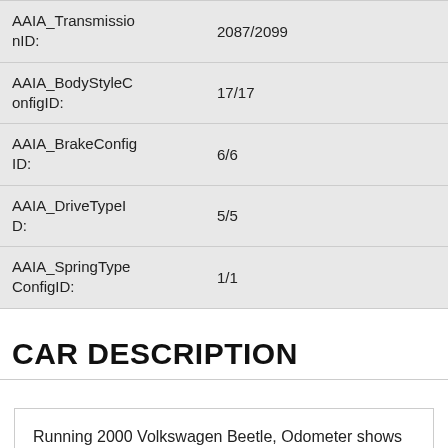| Field | Value |
| --- | --- |
| AAIA_TransmissionID: | 2087/2099 |
| AAIA_BodyStyleConfigID: | 17/17 |
| AAIA_BrakeConfigID: | 6/6 |
| AAIA_DriveTypeID: | 5/5 |
| AAIA_SpringTypeConfigID: | 1/1 |
CAR DESCRIPTION
Running 2000 Volkswagen Beetle, Odometer shows 76,389 miles. It comes with a Brand New battery, a set of good tires, it has good brakes, the lights work.  It has